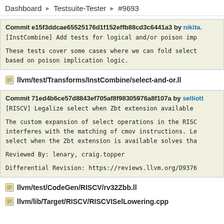Dashboard ▶ Testsuite-Tester ▶ #9693
Commit e15f3ddcae65525176d1f152effb88cd3c6441a3 by nikita.
[InstCombine] Add tests for logical and/or poison imp

These tests cover some cases where we can fold select
based on poison implication logic.
llvm/test/Transforms/InstCombine/select-and-or.ll
Commit 71ed4b6ce57d8843ef705af8f98305976a8f107a by selliott
[RISCV] Legalize select when Zbt extension available

The custom expansion of select operations in the RISC
interferes with the matching of cmov instructions. Le
select when the Zbt extension is available solves tha

Reviewed By: lenary, craig.topper

Differential Revision: https://reviews.llvm.org/D9376
llvm/test/CodeGen/RISCV/rv32Zbb.ll
llvm/lib/Target/RISCV/RISCVISelLowering.cpp